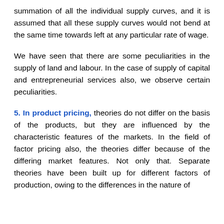summation of all the individual supply curves, and it is assumed that all these supply curves would not bend at the same time towards left at any particular rate of wage.
We have seen that there are some peculiarities in the supply of land and labour. In the case of supply of capital and entrepreneurial services also, we observe certain peculiarities.
5. In product pricing, theories do not differ on the basis of the products, but they are influenced by the characteristic features of the markets. In the field of factor pricing also, the theories differ because of the differing market features. Not only that. Separate theories have been built up for different factors of production, owing to the differences in the nature of